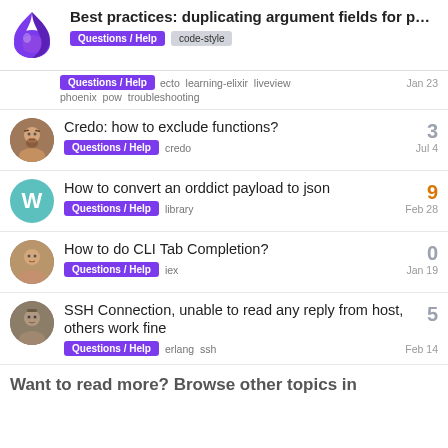Best practices: duplicating argument fields for p...
Questions / Help  ecto  learning-elixir  liveview  phoenix  pow  troubleshooting  Jan 23
Credo: how to exclude functions?  Questions / Help  credo  Jul 4  3
How to convert an orddict payload to json  Questions / Help  library  Feb 28  9
How to do CLI Tab Completion?  Questions / Help  iex  Jan 19  0
SSH Connection, unable to read any reply from host, others work fine  Questions / Help  erlang  ssh  Feb 14  5
Want to read more? Browse other topics in